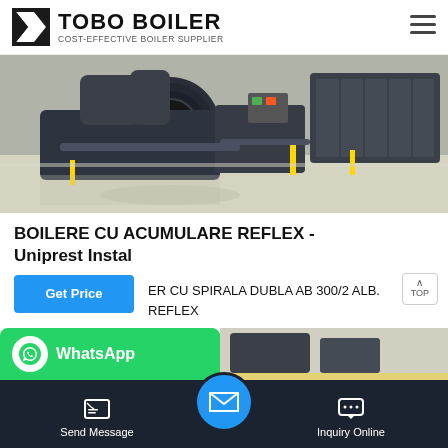TOBO BOILER — COST-EFFECTIVE BOILER SUPPLIER
[Figure (photo): Industrial boiler room showing multiple large dark-colored gas/oil boilers with piping and control equipment on a reflective floor]
BOILERE CU ACUMULARE REFLEX - Uniprest Instal
ER CU SPIRALA DUBLA AB 300/2 ALB. REFLEX BOILER CU SPIRALA DUBLA AB 400/2 ALB. REFLEX BOILER CU SPIRALA DUBLA AB 500/2 ALB. REFLEX BOILER CU SPIRALA DUBLA AF 750/2 ALB. REFLEX BOILER CU SPIRALA...
Send Message | Inquiry Online